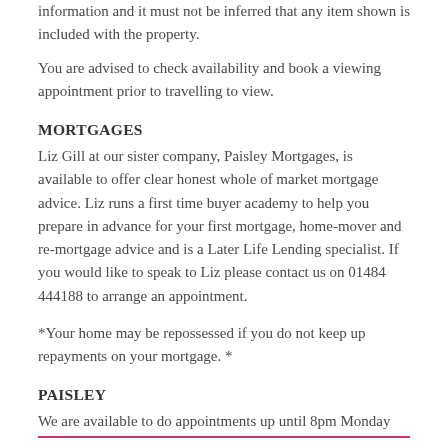information and it must not be inferred that any item shown is included with the property.
You are advised to check availability and book a viewing appointment prior to travelling to view.
MORTGAGES
Liz Gill at our sister company, Paisley Mortgages, is available to offer clear honest whole of market mortgage advice. Liz runs a first time buyer academy to help you prepare in advance for your first mortgage, home-mover and re-mortgage advice and is a Later Life Lending specialist. If you would like to speak to Liz please contact us on 01484 444188 to arrange an appointment.
*Your home may be repossessed if you do not keep up repayments on your mortgage. *
PAISLEY
We are available to do appointments up until 8pm Monday